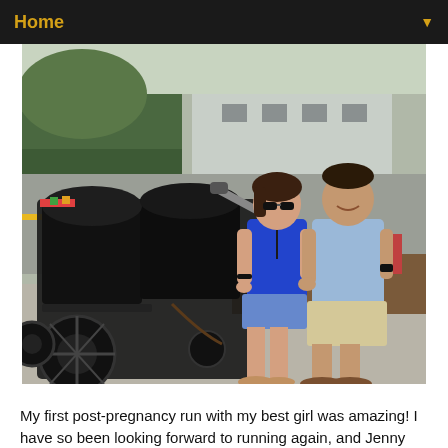Home
[Figure (photo): A woman in a blue top and denim shorts and a man in a light blue t-shirt and khaki shorts standing together on a sidewalk beside a large black double jogging stroller. Background shows a parking lot with blue painted areas, green hedges, and a building.]
My first post-pregnancy run with my best girl was amazing! I have so been looking forward to running again, and Jenny